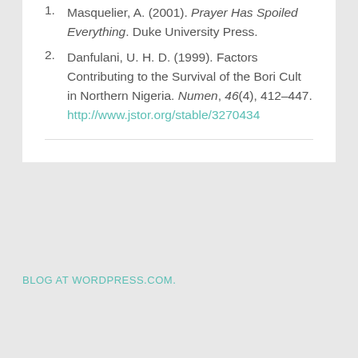1. Masquelier, A. (2001). Prayer Has Spoiled Everything. Duke University Press.
2. Danfulani, U. H. D. (1999). Factors Contributing to the Survival of the Bori Cult in Northern Nigeria. Numen, 46(4), 412–447. http://www.jstor.org/stable/3270434
BLOG AT WORDPRESS.COM.